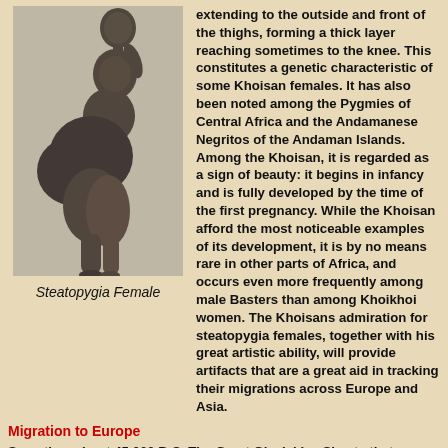[Figure (photo): Black and white photograph of a Steatopygia Female showing pronounced steatopygia, side profile view]
Steatopygia Female
extending to the outside and front of the thighs, forming a thick layer reaching sometimes to the knee. This constitutes a genetic characteristic of some Khoisan females. It has also been noted among the Pygmies of Central Africa and the Andamanese Negritos of the Andaman Islands. Among the Khoisan, it is regarded as a sign of beauty: it begins in infancy and is fully developed by the time of the first pregnancy. While the Khoisan afford the most noticeable examples of its development, it is by no means rare in other parts of Africa, and occurs even more frequently among male Basters than among Khoikhoi women. The Khoisans admiration for steatopygia females, together with his great artistic ability, will provide artifacts that are a great aid in tracking their migrations across Europe and Asia.
Migration to Europe
Sometime about 45,000 B.C. The Great Glacial Ice Sheets that covered most of Europe, started to melt and a group, or groups of these Khoisan peoples walked across the Gibraltar straits and entered Europe. This marks the first time in Human History that modern Humans have crossed over into the formally frozen wilderness of Europe. Once in Europe, Grimaldi Man continued his migrations, and came to